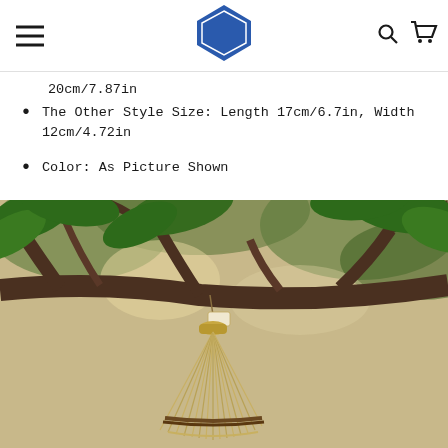OOKGOOD — navigation header with logo, hamburger menu, search and cart icons
20cm/7.87in
The Other Style Size: Length 17cm/6.7in, Width 12cm/4.72in
Color: As Picture Shown
[Figure (photo): A woven straw/bamboo decorative ornament hanging from tree branches with green leaves in the background. The item appears to be a natural fiber hanging decoration shaped like a cone/bundle tied at the top.]